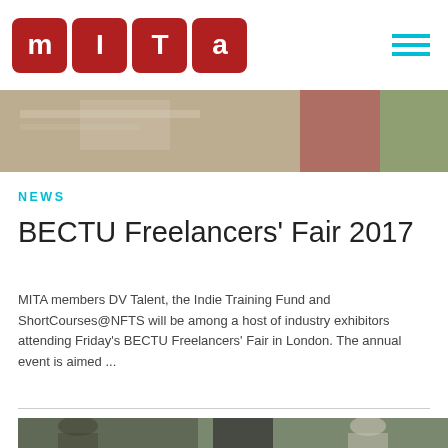[Figure (logo): MITA logo with four red square tiles each containing letters M, I, T, A in white, and a hamburger menu icon in teal on the right]
[Figure (photo): Cropped photo showing people at a desk or workspace, blurred background]
NEWS
BECTU Freelancers' Fair 2017
MITA members DV Talent, the Indie Training Fund and ShortCourses@NFTS will be among a host of industry exhibitors attending Friday's BECTU Freelancers' Fair in London. The annual event is aimed ...
[Figure (photo): Photo showing two people working with film or broadcast equipment outdoors, a man on the left with glasses and a woman on the right]